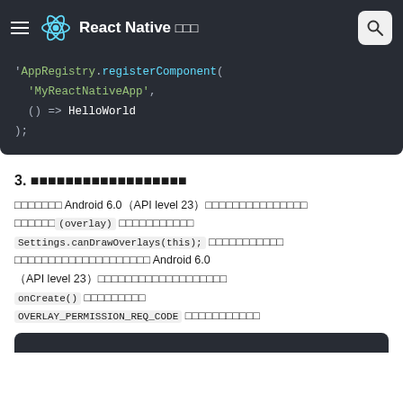React Native 日本語ドキュメント
[Figure (screenshot): Code snippet showing AppRegistry.registerComponent('MyReactNativeApp', () => HelloWorld);]
3. パーミッションの確認
ターゲットが Android 6.0（API level 23）以降の場合、オーバーレイ（overlay）の権限を確認するために Settings.canDrawOverlays(this); を使います。オーバーレイの権限は Android 6.0（API level 23）以降では実行時に確認する必要があります。 onCreate() メソッドの中で OVERLAY_PERMISSION_REQ_CODE という定数を定義します。